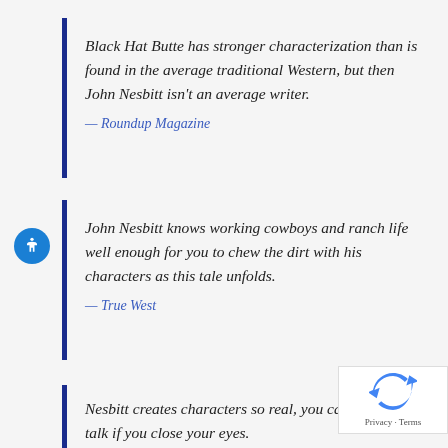Black Hat Butte has stronger characterization than is found in the average traditional Western, but then John Nesbitt isn't an average writer.
— Roundup Magazine
John Nesbitt knows working cowboys and ranch life well enough for you to chew the dirt with his characters as this tale unfolds.
— True West
Nesbitt creates characters so real, you can hear the talk if you close your eyes.